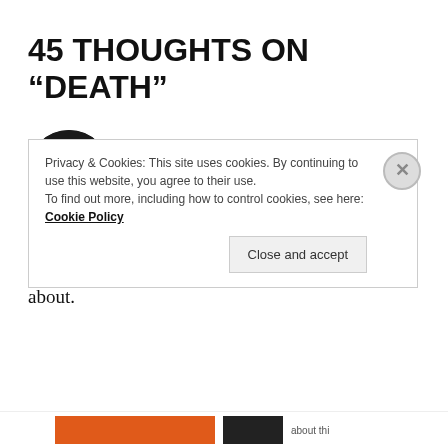45 THOUGHTS ON “DEATH”
[Figure (photo): Circular black and white profile photo of a young woman smiling, with long dark hair and earrings.]
SAMSAHANA
September 8, 2021 at 8:03 pm
Lovely piece as always, dear friend Hema! A soul-crushing poem. Death is suffocating to even think about.
Privacy & Cookies: This site uses cookies. By continuing to use this website, you agree to their use.
To find out more, including how to control cookies, see here: Cookie Policy
Close and accept